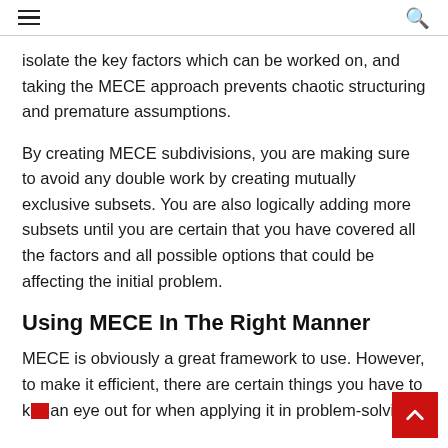≡ [menu] [search]
isolate the key factors which can be worked on, and taking the MECE approach prevents chaotic structuring and premature assumptions.
By creating MECE subdivisions, you are making sure to avoid any double work by creating mutually exclusive subsets. You are also logically adding more subsets until you are certain that you have covered all the factors and all possible options that could be affecting the initial problem.
Using MECE In The Right Manner
MECE is obviously a great framework to use. However, to make it efficient, there are certain things you have to keep an eye out for when applying it in problem-solving.